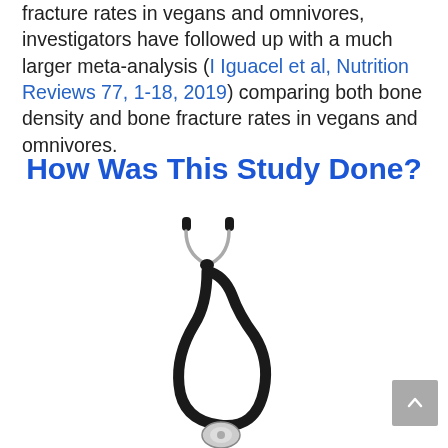fracture rates in vegans and omnivores, investigators have followed up with a much larger meta-analysis (I Iguacel et al, Nutrition Reviews 77, 1-18, 2019) comparing both bone density and bone fracture rates in vegans and omnivores.
How Was This Study Done?
[Figure (photo): A black stethoscope on a white background, showing the earpieces at the top and the chest piece at the bottom.]